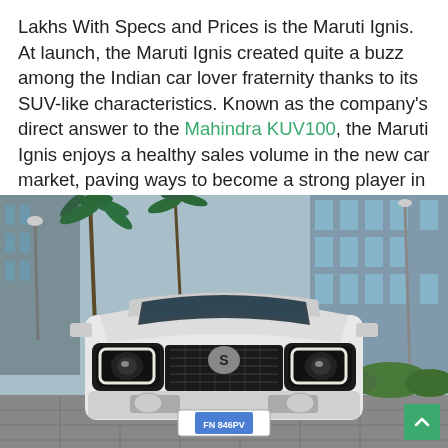Lakhs With Specs and Prices is the Maruti Ignis. At launch, the Maruti Ignis created quite a buzz among the Indian car lover fraternity thanks to its SUV-like characteristics. Known as the company's direct answer to the Mahindra KUV100, the Maruti Ignis enjoys a healthy sales volume in the new car market, paving ways to become a strong player in the second-hand car segment as well.
[Figure (photo): Front view of a white Maruti Ignis (Suzuki Ignis) car parked on a paved area with palm trees and a modern glass building in the background. The license plate reads FN 846PV.]